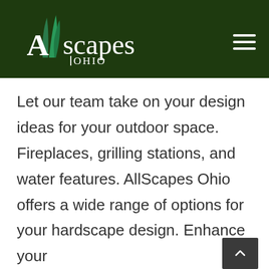[Figure (logo): AllScapes Ohio logo — stylized grass blades in teal/green on dark green background, with text 'Allscapes OHIO' in white]
Let our team take on your design ideas for your outdoor space. Fireplaces, grilling stations, and water features. AllScapes Ohio offers a wide range of options for your hardscape design. Enhance your